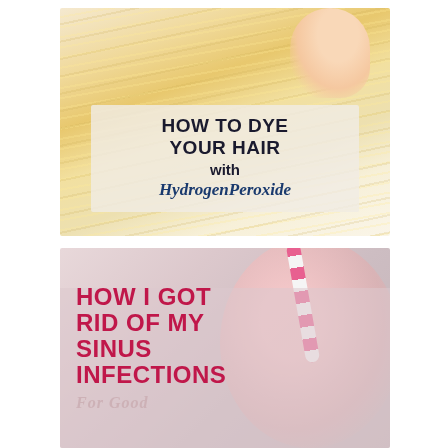[Figure (photo): Blonde hair with a partial face visible in top right corner. Overlaid text box reads: HOW TO DYE YOUR HAIR with HydrogenPeroxide]
[Figure (photo): Pink smoothie or drink in a glass jar with a pink and white striped straw. Overlaid bold pink text reads: HOW I GOT RID OF MY SINUS INFECTIONS, with italic text below reading 'For Good']